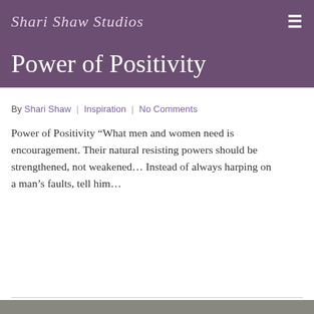Shari Shaw Studios
Power of Positivity
By Shari Shaw | Inspiration | No Comments
Power of Positivity “What men and women need is encouragement. Their natural resisting powers should be strengthened, not weakened… Instead of always harping on a man’s faults, tell him…
Read More
[Figure (photo): Partial bottom image strip visible at bottom of page]